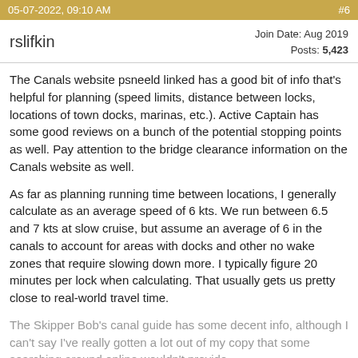05-07-2022, 09:10 AM   #6
rslifkin   Join Date: Aug 2019  Posts: 5,423
The Canals website psneeld linked has a good bit of info that's helpful for planning (speed limits, distance between locks, locations of town docks, marinas, etc.). Active Captain has some good reviews on a bunch of the potential stopping points as well. Pay attention to the bridge clearance information on the Canals website as well.
As far as planning running time between locations, I generally calculate as an average speed of 6 kts. We run between 6.5 and 7 kts at slow cruise, but assume an average of 6 in the canals to account for areas with docks and other no wake zones that require slowing down more. I typically figure 20 minutes per lock when calculating. That usually gets us pretty close to real-world travel time.
The Skipper Bob's canal guide has some decent info, although I can't say I've really gotten a lot out of my copy that some searching around online wouldn't provide.
For doing the locks, I like the big round fenders. They slide well on the